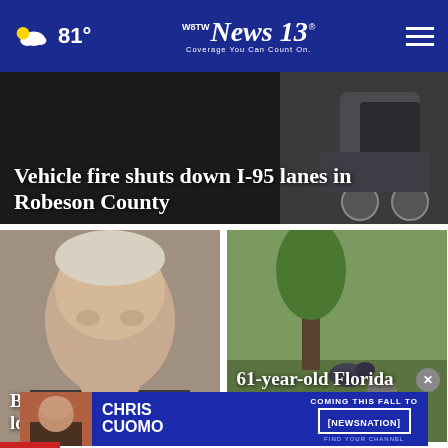81° WBTW News 13 Coverage You Can Count On.
Vehicle fire shuts down I-95 lanes in Robeson County
[Figure (photo): Photo of Joe Biden, older man with grey hair and a suit]
Biden announces student loan forgiveness plan
[Figure (photo): Photo of dogs near a tree outdoors]
61-year-old Florida postal worker dies after being...
[Figure (photo): Advertisement banner: Chris Cuomo Coming This Fall to NewsNation Find Your Channel]